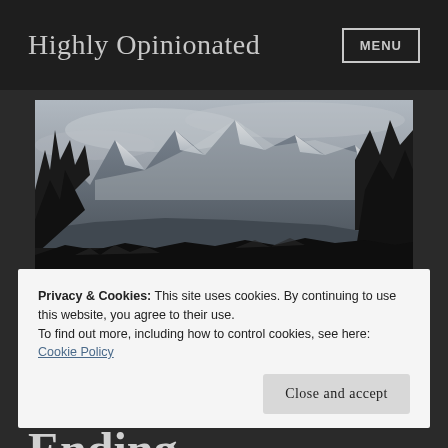Highly Opinionated | MENU
[Figure (photo): Black and white landscape photograph showing snow-capped mountains in the background with dark trees in the foreground]
Great Start Troubled Ending
Privacy & Cookies: This site uses cookies. By continuing to use this website, you agree to their use.
To find out more, including how to control cookies, see here: Cookie Policy
Close and accept